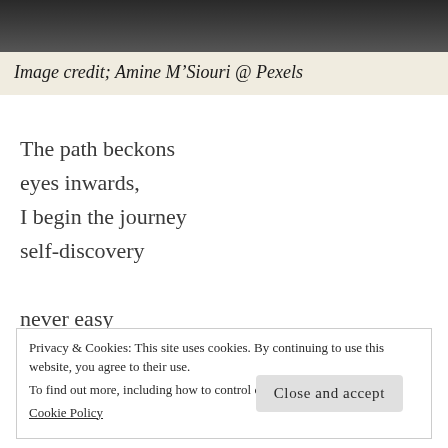[Figure (photo): Dark grayscale photo of a path or landscape, cropped to top strip]
Image credit; Amine M’Siouri @ Pexels
The path beckons
eyes inwards,
I begin the journey
self-discovery

never easy
I am ready

to pay the price
Privacy & Cookies: This site uses cookies. By continuing to use this website, you agree to their use.
To find out more, including how to control cookies, see here:
Cookie Policy
Close and accept